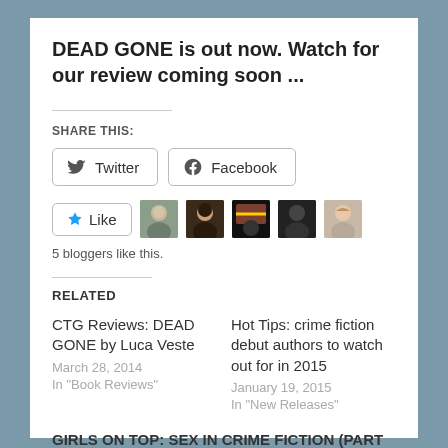DEAD GONE is out now. Watch for our review coming soon ...
SHARE THIS:
[Figure (other): Twitter and Facebook share buttons]
[Figure (other): Like button with 5 blogger avatars]
5 bloggers like this.
RELATED
CTG Reviews: DEAD GONE by Luca Veste
March 28, 2014
In "Book Reviews"
Hot Tips: crime fiction debut authors to watch out for in 2015
January 19, 2015
In "New Releases"
GIRLS ON TOP: SEX IN CRIME FICTION (PART 1)